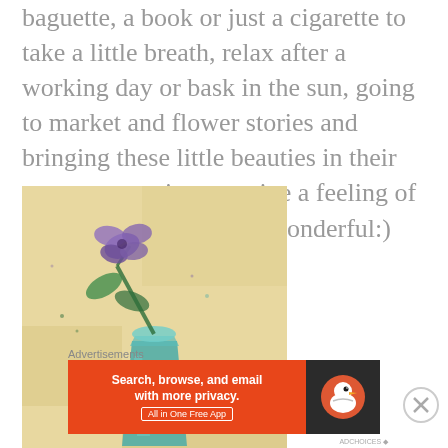baguette, a book or just a cigarette to take a little breath, relax after a working day or bask in the sun, going to market and flower stories and bringing these little beauties in their rooms to continue receive a feeling of being in touch with the wonderful:)
[Figure (illustration): Watercolor painting of purple flowers in a teal/green vase against a warm yellow-beige background]
Advertisements
[Figure (other): DuckDuckGo advertisement banner: orange left side with text 'Search, browse, and email with more privacy. All in One Free App', dark right side with DuckDuckGo duck logo]